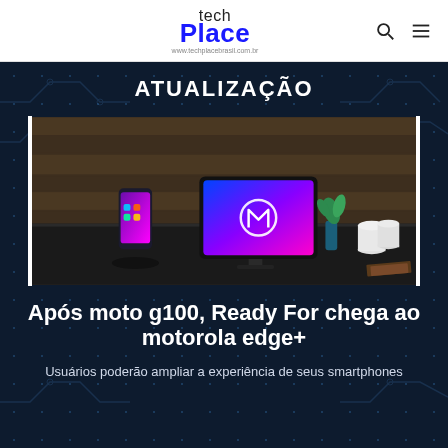tech Place www.techplacebrasil.com.br
ATUALIZAÇÃO
[Figure (photo): Photo of a Motorola smartphone on a charging dock and a monitor displaying the Motorola logo on a desk, with a plant and decorative objects in the background.]
Após moto g100, Ready For chega ao motorola edge+
Usuários poderão ampliar a experiência de seus smartphones